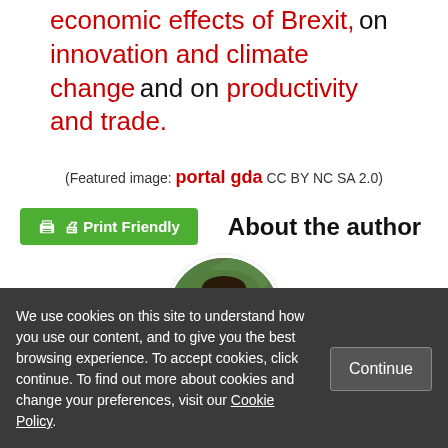economic effects of Brexit, on innovation and climate change and on productivity and trade.
(Featured image: portal gda CC BY NC SA 2.0)
Print Friendly   About the author
[Figure (photo): Circular portrait photo of a man in a suit drinking from a white cup, outdoors with green background]
We use cookies on this site to understand how you use our content, and to give you the best browsing experience. To accept cookies, click continue. To find out more about cookies and change your preferences, visit our Cookie Policy.